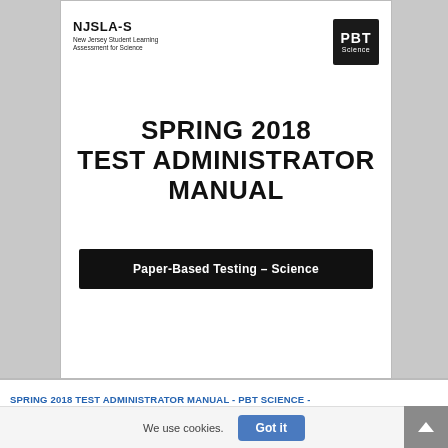NJSLA-S
New Jersey Student Learning Assessment for Science
SPRING 2018 TEST ADMINISTRATOR MANUAL
Paper-Based Testing – Science
SPRING 2018 TEST ADMINISTRATOR MANUAL - PBT SCIENCE -